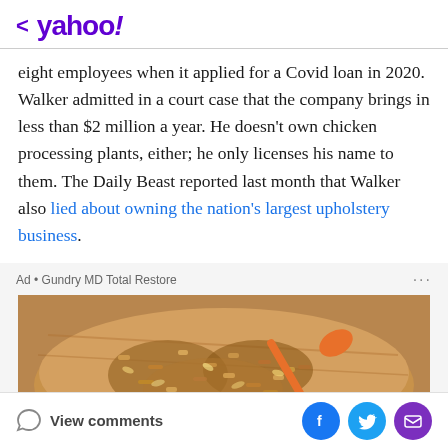< yahoo!
eight employees when it applied for a Covid loan in 2020. Walker admitted in a court case that the company brings in less than $2 million a year. He doesn't own chicken processing plants, either; he only licenses his name to them. The Daily Beast reported last month that Walker also lied about owning the nation's largest upholstery business.
[Figure (photo): Advertisement for Gundry MD Total Restore showing a wooden bowl filled with granola or oats with an orange spoon/scoop]
View comments